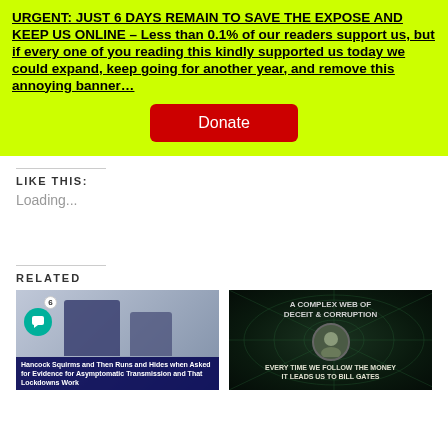URGENT: JUST 6 DAYS REMAIN TO SAVE THE EXPOSE AND KEEP US ONLINE – Less than 0.1% of our readers support us, but if every one of you reading this kindly supported us today we could expand, keep going for another year, and remove this annoying banner…
Donate
LIKE THIS:
Loading...
RELATED
[Figure (photo): Two men sitting at a table in an office/meeting room setting. Overlay text at bottom: 'Hancock Squirms and Then Runs and Hides when Asked for Evidence for Asymptomatic Transmission and That Lockdowns Work'. Comment badge showing 6 comments.]
[Figure (photo): Dark green background with spider web pattern and a man's face (with glasses). Text overlay: 'A COMPLEX WEB OF DECEIT & CORRUPTION' and 'EVERY TIME WE FOLLOW THE MONEY IT LEADS US TO BILL GATES']